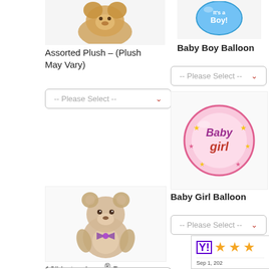[Figure (photo): Assorted plush stuffed animal toy, brown teddy bear, top portion visible]
Assorted Plush – (Plush May Vary)
[Figure (other): Dropdown selector -- Please Select --]
[Figure (photo): Baby Boy Balloon - round blue balloon with 'Boy' text]
Baby Boy Balloon
[Figure (other): Dropdown selector -- Please Select --]
[Figure (photo): Baby Girl Balloon - round pink balloon with 'Baby girl' text and stars]
Baby Girl Balloon
[Figure (other): Dropdown selector -- Please Select --]
[Figure (photo): 18 inch Lotsa Love bear, beige teddy bear with bow]
18" Lotsa Love® Bear
[Figure (other): Dropdown selector -- Please Select --]
[Figure (other): Yahoo shopping rating badge with 3 stars, dated Sep 1, 202x]